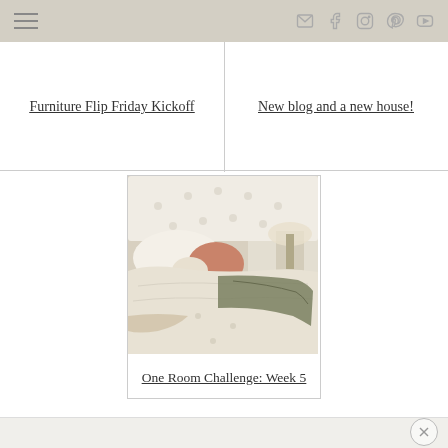Navigation bar with hamburger menu and social icons
Furniture Flip Friday Kickoff
New blog and a new house!
[Figure (photo): A styled bedroom with white tufted headboard, decorative pillows in white and salmon/coral, cream blanket, and olive/green throw draped across the bed, with a bedside lamp visible in the background.]
One Room Challenge: Week 5